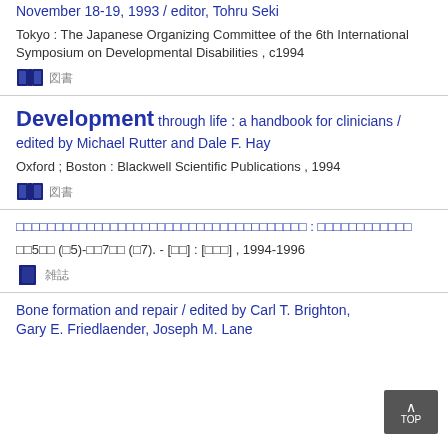November 18-19, 1993 / editor, Tohru Seki
Tokyo : The Japanese Organizing Committee of the 6th International Symposium on Developmental Disabilities , c1994
Development through life : a handbook for clinicians / edited by Michael Rutter and Dale F. Hay
Oxford ; Boston : Blackwell Scientific Publications , 1994
[Japanese characters] : [Japanese characters]
[Japanese text] 5[Japanese] ([Japanese]5)-[Japanese]7[Japanese] ([Japanese]7). - [[Japanese]] : [[Japanese]] , 1994-1996
Bone formation and repair / edited by Carl T. Brighton, Gary E. Friedlaender, Joseph M. Lane